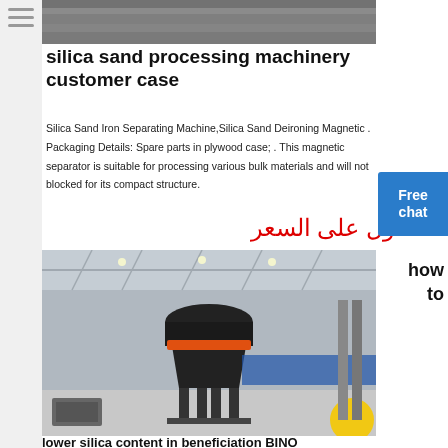[Figure (photo): Aerial or overhead view of a textured industrial surface, gray tones]
silica sand processing machinery customer case
Silica Sand Iron Separating Machine,Silica Sand Deironing Magnetic . Packaging Details: Spare parts in plywood case; . This magnetic separator is suitable for processing various bulk materials and will not blocked for its compact structure.
الحصول على السعر
[Figure (photo): Industrial facility interior showing large cone crusher or processing machine on a factory floor with warehouse structure]
how to
lower silica content in beneficiation BINO